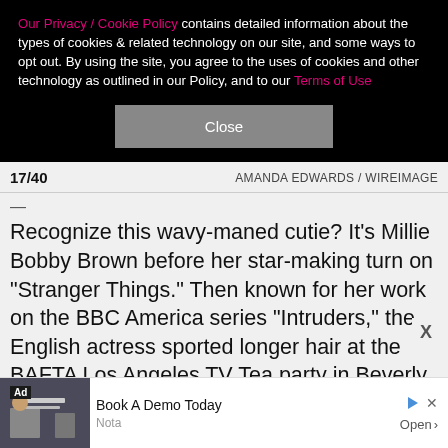Our Privacy / Cookie Policy contains detailed information about the types of cookies & related technology on our site, and some ways to opt out. By using the site, you agree to the uses of cookies and other technology as outlined in our Policy, and to our Terms of Use
Close
17/40    AMANDA EDWARDS / WIREIMAGE
—
Recognize this wavy-maned cutie? It's Millie Bobby Brown before her star-making turn on "Stranger Things." Then known for her work on the BBC America series "Intruders," the English actress sported longer hair at the BAFTA Los Angeles TV Tea party in Beverly Hills on Aug. 23, 2014.
[Figure (other): Advertisement banner with image of person at desk, text: Book A Demo Today, Nota, Open]
X